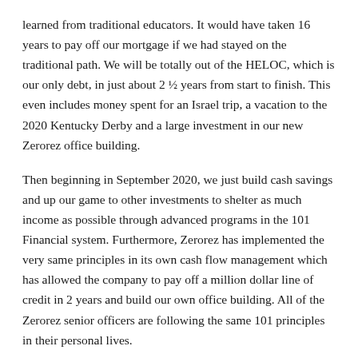learned from traditional educators. It would have taken 16 years to pay off our mortgage if we had stayed on the traditional path. We will be totally out of the HELOC, which is our only debt, in just about 2 ½ years from start to finish. This even includes money spent for an Israel trip, a vacation to the 2020 Kentucky Derby and a large investment in our new Zerorez office building.
Then beginning in September 2020, we just build cash savings and up our game to other investments to shelter as much income as possible through advanced programs in the 101 Financial system. Furthermore, Zerorez has implemented the very same principles in its own cash flow management which has allowed the company to pay off a million dollar line of credit in 2 years and build our own office building. All of the Zerorez senior officers are following the same 101 principles in their personal lives.
-Gaylord Karren